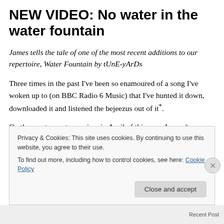NEW VIDEO: No water in the water fountain
James tells the tale of one of the most recent additions to our repertoire, Water Fountain by tUnE-yArDs
Three times in the past I've been so enamoured of a song I've woken up to (on BBC Radio 6 Music) that I've hunted it down, downloaded it and listened the bejeezus out of it*.
On the most recent occasion, in April of this year, I wasn't
Privacy & Cookies: This site uses cookies. By continuing to use this website, you agree to their use.
To find out more, including how to control cookies, see here: Cookie Policy
Close and accept